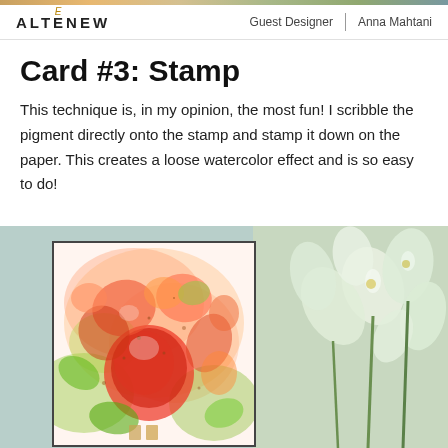ALTENEW | Guest Designer | Anna Mahtani
Card #3: Stamp
This technique is, in my opinion, the most fun! I scribble the pigment directly onto the stamp and stamp it down on the paper. This creates a loose watercolor effect and is so easy to do!
[Figure (photo): Handmade card featuring a loose watercolor floral stamp effect with red, orange, and green flowers on white background, partially shown. White flowers photo visible on the right side.]